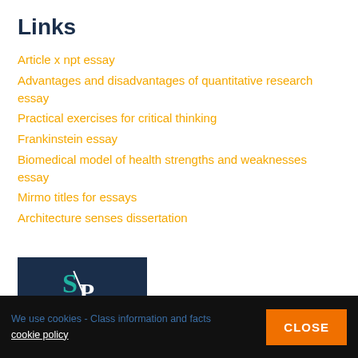Links
Article x npt essay
Advantages and disadvantages of quantitative research essay
Practical exercises for critical thinking
Frankinstein essay
Biomedical model of health strengths and weaknesses essay
Mirmo titles for essays
Architecture senses dissertation
[Figure (logo): SuperbPaper advertisement logo with S/P monogram and 'SUPERBPAPER' text, and 'Need help' text below on dark navy background]
We use cookies - Class information and facts | cookie policy | CLOSE